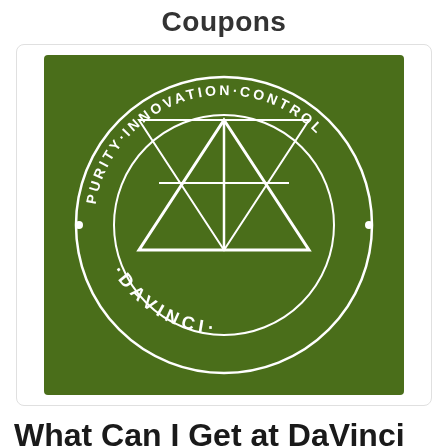Coupons
[Figure (logo): DaVinci Vaporizers circular logo on dark green background. Features a geometric diamond/shield shape in the center. Around the circle reads 'PURITY · INNOVATION · CONTROL' at the top and '· DAVINCI ·' at the bottom, all in white.]
What Can I Get at DaVinci Vaporizers?